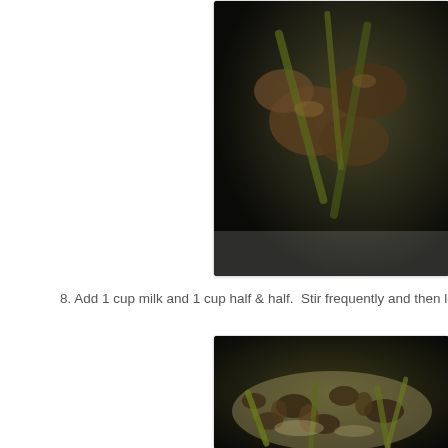[Figure (photo): Close-up photo of sautéed mushrooms and leeks/green vegetables in a dark pan, viewed from above at an angle. Dark moody food photography.]
8. Add 1 cup milk and 1 cup half & half.  Stir frequently and then let s
[Figure (photo): Close-up photo of ground meat, mushrooms, and leeks/green onions cooking in a skillet with cream/milk sauce. Overhead angle, dark background.]